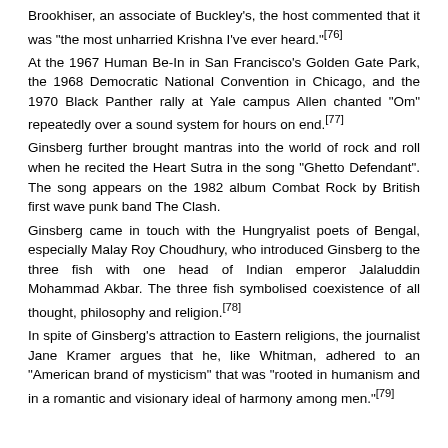Brookhiser, an associate of Buckley's, the host commented that it was "the most unharried Krishna I've ever heard."[76]
At the 1967 Human Be-In in San Francisco's Golden Gate Park, the 1968 Democratic National Convention in Chicago, and the 1970 Black Panther rally at Yale campus Allen chanted "Om" repeatedly over a sound system for hours on end.[77]
Ginsberg further brought mantras into the world of rock and roll when he recited the Heart Sutra in the song "Ghetto Defendant". The song appears on the 1982 album Combat Rock by British first wave punk band The Clash.
Ginsberg came in touch with the Hungryalist poets of Bengal, especially Malay Roy Choudhury, who introduced Ginsberg to the three fish with one head of Indian emperor Jalaluddin Mohammad Akbar. The three fish symbolised coexistence of all thought, philosophy and religion.[78]
In spite of Ginsberg's attraction to Eastern religions, the journalist Jane Kramer argues that he, like Whitman, adhered to an "American brand of mysticism" that was "rooted in humanism and in a romantic and visionary ideal of harmony among men."[79]